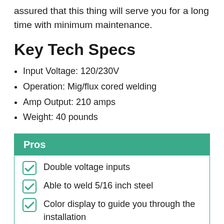assured that this thing will serve you for a long time with minimum maintenance.
Key Tech Specs
Input Voltage: 120/230V
Operation: Mig/flux cored welding
Amp Output: 210 amps
Weight: 40 pounds
| Pros |
| --- |
| Double voltage inputs |
| Able to weld 5/16 inch steel |
| Color display to guide you through the installation |